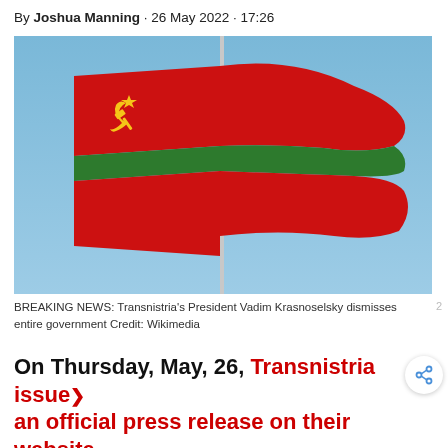By Joshua Manning · 26 May 2022 · 17:26
[Figure (photo): Transnistria flag flying on a flagpole against a blue sky. The flag is red with a green horizontal stripe in the middle, and features the communist hammer and sickle emblem in the upper left corner.]
BREAKING NEWS: Transnistria's President Vadim Krasnoselsky dismisses entire government Credit: Wikimedia
On Thursday, May, 26, Transnistria issued an official press release on their website informing the world of their latest change in government.